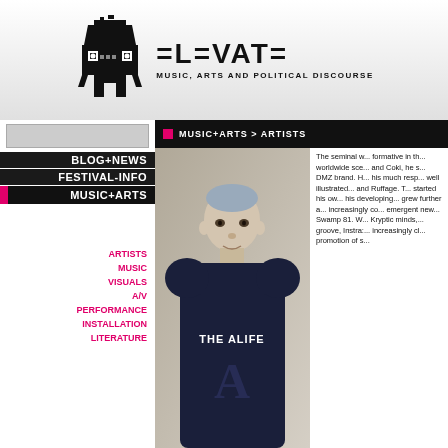ELEVATE — MUSIC, ARTS AND POLITICAL DISCOURSE
MUSIC+ARTS > ARTISTS
BLOG+NEWS
FESTIVAL-INFO
MUSIC+ARTS
LINEUP
MUSIC TALKS
LITERATURE
ARTISTS
MUSIC
VISUALS
A/V
PERFORMANCE
INSTALLATION
LITERATURE
LAB
PODCAST
RBMA RADIO
ELEVATE TOUR
[Figure (photo): Portrait photo of a young man wearing a dark sweatshirt with THE ALIFE text]
The seminal w... formative in th... worldwide sce... and Coki, he s... DMZ brand. H... his much resp... well illustrated... and Ruffage. T... started his ow... his developing... grew further a... increasingly co... emergent new... Swamp 81. W... Kryptic minds,... groove, Instra:... increasingly cl... promotion of s...